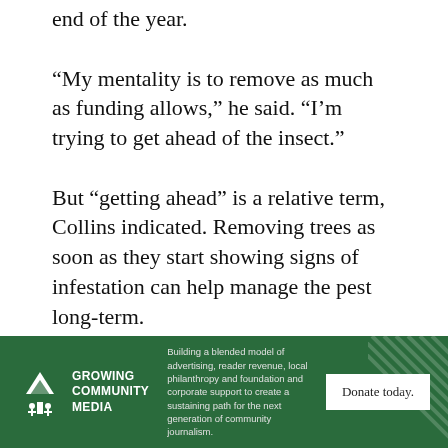end of the year.
“My mentality is to remove as much as funding allows,” he said. “I’m trying to get ahead of the insect.”
But “getting ahead” is a relative term, Collins indicated. Removing trees as soon as they start showing signs of infestation can help manage the pest long-term.
However, “long term in emerald ash borer terms is three to five years,” Collins said.
[Figure (logo): Growing Community Media banner with logo, tagline about building a blended model, and a Donate today button]